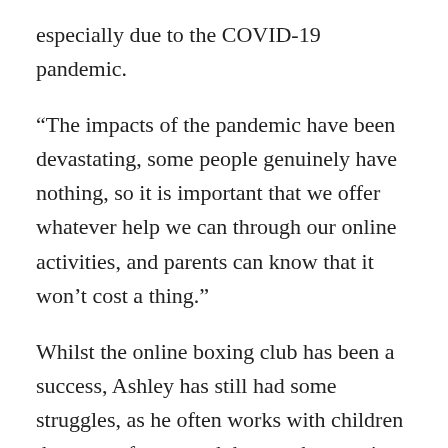especially due to the COVID-19 pandemic.
“The impacts of the pandemic have been devastating, some people genuinely have nothing, so it is important that we offer whatever help we can through our online activities, and parents can know that it won’t cost a thing.”
Whilst the online boxing club has been a success, Ashley has still had some struggles, as he often works with children that come from rough homes, he says it can be difficult to understand the depth of vulnerability for some children without their face-to-face gym being open. There are some great things being done over their online platform, but